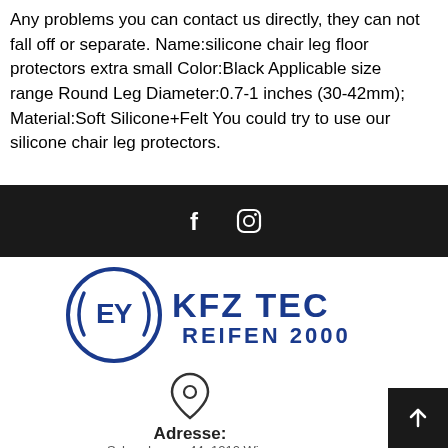Any problems you can contact us directly, they can not fall off or separate. Name:silicone chair leg floor protectors extra small Color:Black Applicable size range Round Leg Diameter:0.7-1 inches (30-42mm);  Material:Soft Silicone+Felt You could try to use our silicone chair leg protectors.
[Figure (other): Dark bar with Facebook and Instagram social media icons in white]
[Figure (logo): EY KFZ TEC REIFEN 2000 logo in dark blue with circular EY emblem]
[Figure (other): Map pin / location icon outline]
Adresse:
Schoudgasse 44, 1210 Wien